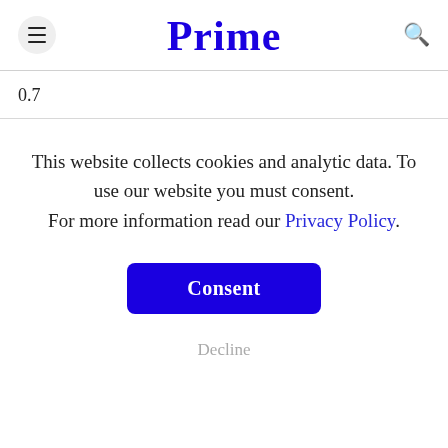Prime
0.7
This website collects cookies and analytic data. To use our website you must consent. For more information read our Privacy Policy.
Consent
Decline